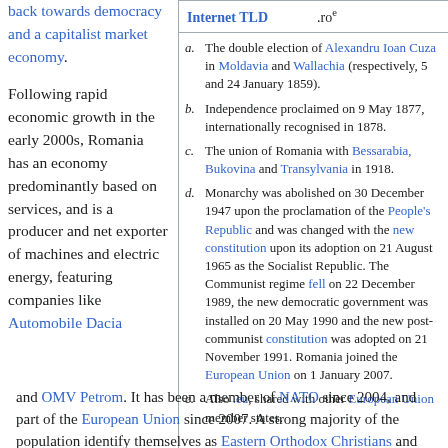back towards democracy and a capitalist market economy.
Following rapid economic growth in the early 2000s, Romania has an economy predominantly based on services, and is a producer and net exporter of machines and electric energy, featuring companies like Automobile Dacia
| ISO 3166 code | RO |
| --- | --- |
| Internet TLD | .roe |
a. The double election of Alexandru Ioan Cuza in Moldavia and Wallachia (respectively, 5 and 24 January 1859).
b. Independence proclaimed on 9 May 1877, internationally recognised in 1878.
c. The union of Romania with Bessarabia, Bukovina and Transylvania in 1918.
d. Monarchy was abolished on 30 December 1947 upon the proclamation of the People's Republic and was changed with the new constitution upon its adoption on 21 August 1965 as the Socialist Republic. The Communist regime fell on 22 December 1989, the new democratic government was installed on 20 May 1990 and the new post-communist constitution was adopted on 21 November 1991. Romania joined the European Union on 1 January 2007.
e. Also .eu, shared with other European Union member states.
and OMV Petrom. It has been a member of NATO since 2004, and part of the European Union since 2007. A strong majority of the population identify themselves as Eastern Orthodox Christians and are native speakers of Romanian, a Romance language. With a